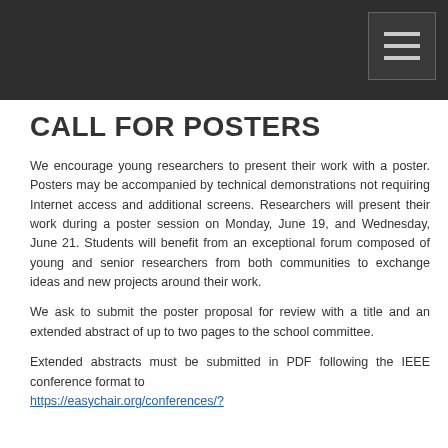CALL FOR POSTERS
We encourage young researchers to present their work with a poster. Posters may be accompanied by technical demonstrations not requiring Internet access and additional screens. Researchers will present their work during a poster session on Monday, June 19, and Wednesday, June 21. Students will benefit from an exceptional forum composed of young and senior researchers from both communities to exchange ideas and new projects around their work.
We ask to submit the poster proposal for review with a title and an extended abstract of up to two pages to the school committee.
Extended abstracts must be submitted in PDF following the IEEE conference format to https://easychair.org/conferences/?